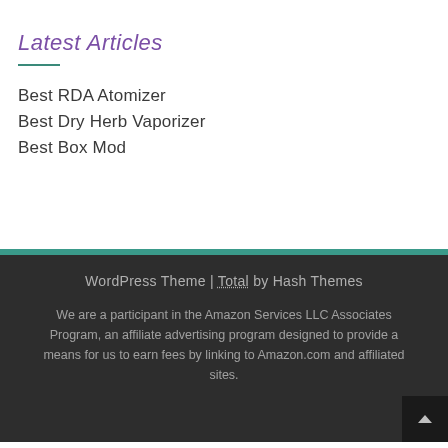Latest Articles
Best RDA Atomizer
Best Dry Herb Vaporizer
Best Box Mod
WordPress Theme | Total by Hash Themes

We are a participant in the Amazon Services LLC Associates Program, an affiliate advertising program designed to provide a means for us to earn fees by linking to Amazon.com and affiliated sites.